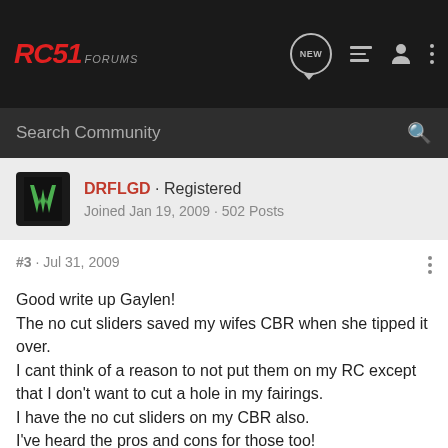RC51 FORUMS
Search Community
DRFLGD · Registered
Joined Jan 19, 2009 · 502 Posts
#3 · Jul 31, 2009
Good write up Gaylen!
The no cut sliders saved my wifes CBR when she tipped it over.
I cant think of a reason to not put them on my RC except that I don't want to cut a hole in my fairings.
I have the no cut sliders on my CBR also.
I've heard the pros and cons for those too!
Marc
2008 ZX10R